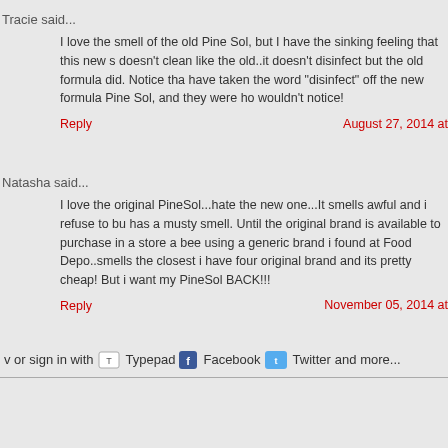Tracie said...
I love the smell of the old Pine Sol, but I have the sinking feeling that this new s doesn't clean like the old..it doesn't disinfect but the old formula did. Notice tha have taken the word "disinfect" off the new formula Pine Sol, and they were ho wouldn't notice!
Reply
August 27, 2014 at
Natasha said...
I love the original PineSol...hate the new one...It smells awful and i refuse to bu has a musty smell. Until the original brand is available to purchase in a store a bee using a generic brand i found at Food Depo..smells the closest i have four original brand and its pretty cheap! But i want my PineSol BACK!!!
Reply
November 05, 2014 at
v or sign in with  Typepad  Facebook  Twitter and more...